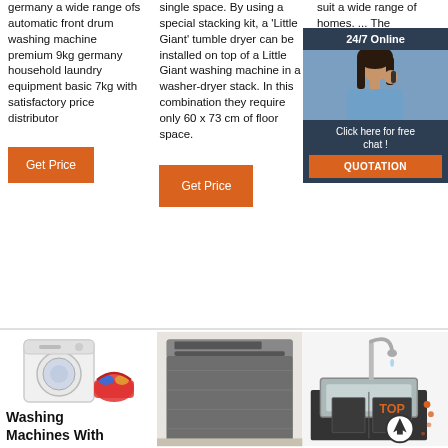germany a wide range ofs automatic front drum washing machine premium 9kg germany household laundry equipment basic 7kg with satisfactory price distributor
Get Price
single space. By using a special stacking kit, a 'Little Giant' tumble dryer can be installed on top of a Little Giant washing machine in a washer-dryer stack. In this combination they require only 60 x 73 cm of floor space.
Get Price
suit a wide range of homes. ... The WTG9020V's inverter motor moves water in the drum to m... ...
Get Pr...
[Figure (infographic): 24/7 Online chat widget with woman on phone, dark blue background, orange QUOTATION button]
[Figure (photo): Washing machine with laundry basket]
[Figure (photo): Stainless steel dishwasher]
[Figure (photo): Kitchen sink with faucet and back-to-top arrow overlay]
Washing Machines With